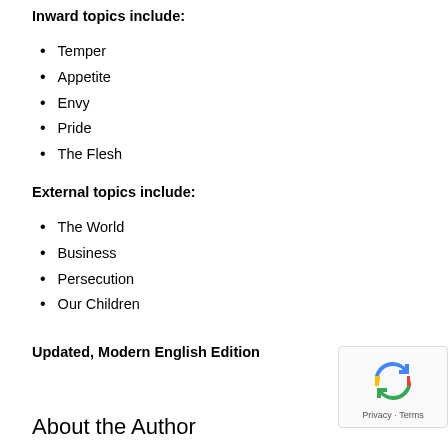Inward topics include:
Temper
Appetite
Envy
Pride
The Flesh
External topics include:
The World
Business
Persecution
Our Children
Updated, Modern English Edition
About the Author